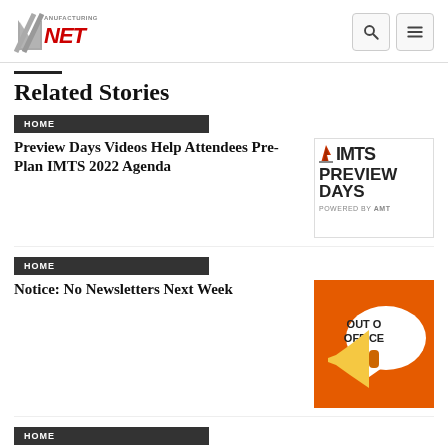Manufacturing.net
Related Stories
HOME
Preview Days Videos Help Attendees Pre-Plan IMTS 2022 Agenda
[Figure (photo): IMTS Preview Days powered by AMT logo image]
HOME
Notice: No Newsletters Next Week
[Figure (photo): Out of office speech bubble with megaphone on orange background]
HOME
No M.net Newsletter Until